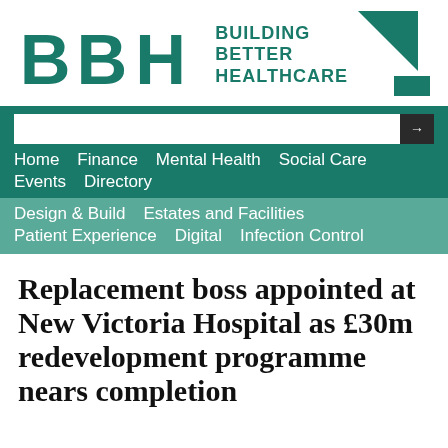[Figure (logo): BBH Building Better Healthcare logo with teal letters BBH, tagline 'BUILDING BETTER HEALTHCARE', and two triangles on right]
Home   Finance   Mental Health   Social Care   Events   Directory   Design & Build   Estates and Facilities   Patient Experience   Digital   Infection Control
Replacement boss appointed at New Victoria Hospital as £30m redevelopment programme nears completion